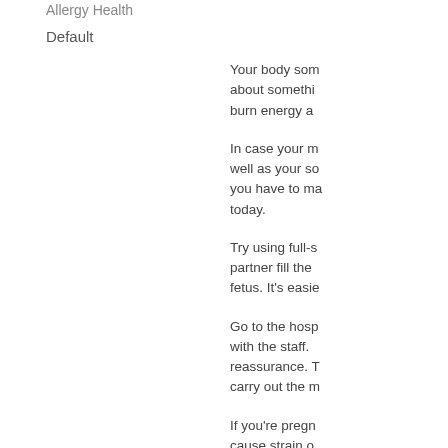Allergy Health
Default
Your body som about somethi burn energy a
In case your m well as your so you have to ma today.
Try using full-s partner fill the fetus. It's easie
Go to the hosp with the staff. reassurance. T carry out the m
If you're pregn cause strain o